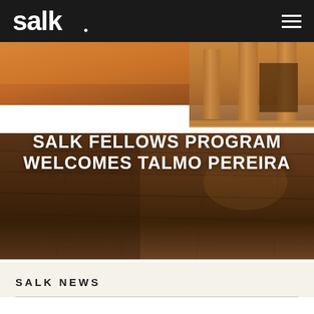Salk Institute - Navigation header with Salk logo and hamburger menu
[Figure (photo): Architectural photo of the Salk Institute building exterior at dusk/sunset, showing concrete columns and tiled courtyard floor with warm orange and brown tones]
June 2, 2021
SALK FELLOWS PROGRAM WELCOMES TALMO PEREIRA
SALK NEWS